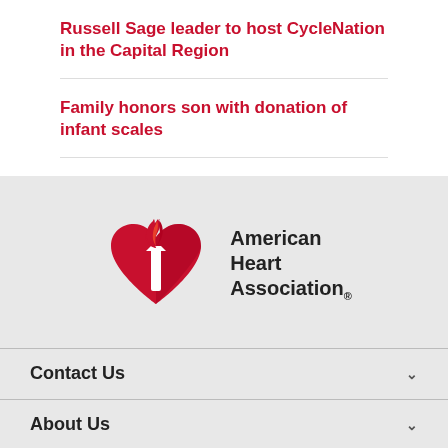Russell Sage leader to host CycleNation in the Capital Region
Family honors son with donation of infant scales
[Figure (logo): American Heart Association logo — red heart with torch flame and white torch, with text 'American Heart Association®' to the right]
Contact Us
About Us